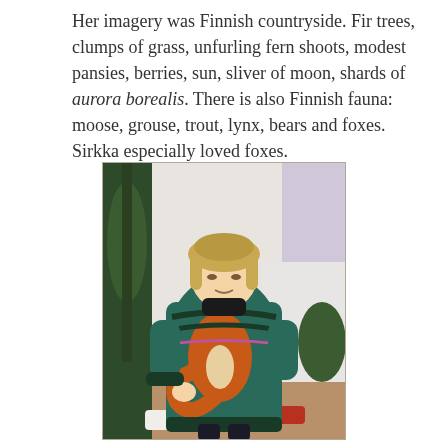Her imagery was Finnish countryside. Fir trees, clumps of grass, unfurling fern shoots, modest pansies, berries, sun, sliver of moon, shards of aurora borealis. There is also Finnish fauna: moose, grouse, trout, lynx, bears and foxes. Sirkka especially loved foxes.
[Figure (photo): A young child standing indoors wearing an oversized colorful knitted sweater featuring a large orange fox design on a teal/green background with other nature motifs. The child has blonde hair and is surrounded by houseplants. The photo appears to be from the 1980s or early 1990s.]